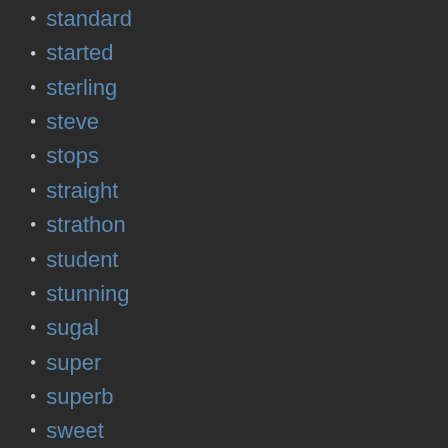standard
started
sterling
steve
stops
straight
strathon
student
stunning
sugal
super
superb
sweet
syntheticsax
system
taigor
take
taste
technologies
tedklum
tenney
tenor
testing